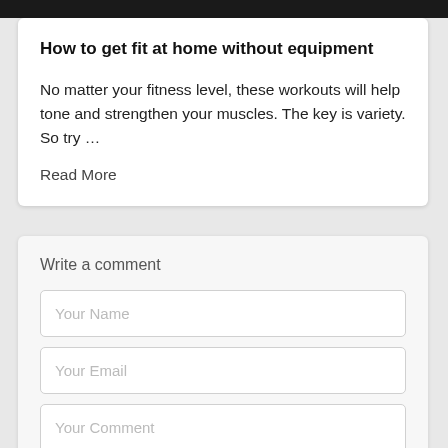[Figure (other): Black navigation bar at top of page]
How to get fit at home without equipment
No matter your fitness level, these workouts will help tone and strengthen your muscles. The key is variety. So try …
Read More
Write a comment
Your Name
Your Email
Your Comment